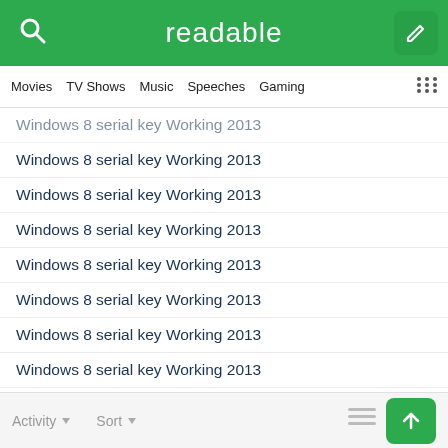readable
Movies  TV Shows  Music  Speeches  Gaming
Windows 8 serial key Working 2013
Windows 8 serial key Working 2013
Windows 8 serial key Working 2013
Windows 8 serial key Working 2013
Windows 8 serial key Working 2013
Windows 8 serial key Working 2013
Windows 8 serial key Working 2013
Windows 8 serial key Working 2013
Windows 8 serial key Working 2013
Windows 8 serial key Working 2013
Activity  Sort